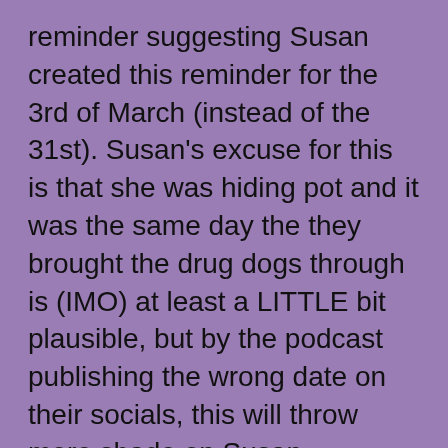reminder suggesting Susan created this reminder for the 3rd of March (instead of the 31st). Susan's excuse for this is that she was hiding pot and it was the same day the they brought the drug dogs through is (IMO) at least a LITTLE bit plausible, but by the podcast publishing the wrong date on their socials, this will throw more shade on Susan (unfairly). I find it kind of ironic that they made this mistake, given how often they comment on Susan not presenting facts clearly...